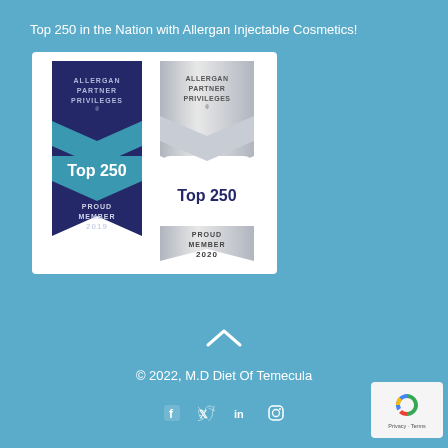Top 250 in the Nation with Allergan Injectable Cosmetics!
[Figure (photo): Two Allergan Partner Privileges award badges side by side. Left badge is navy blue with 'ALLERGAN PARTNER PRIVILEGES' text, 'Top 250' in teal, and 'PROUD MEMBER 2019'. Right badge is silver/grey with 'ALLERGAN PARTNER PRIVILEGES' text, 'Top 250' in navy blue, and 'PROUD MEMBER 2020'.]
© 2022, M.D Diet Of Temecula